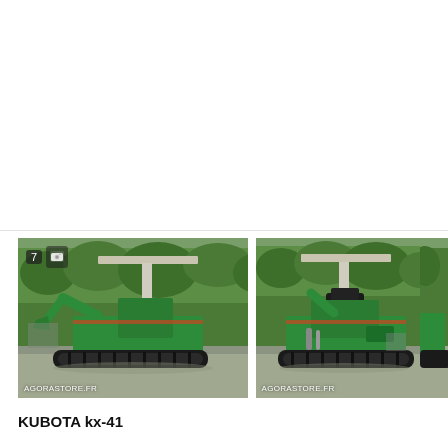[Figure (photo): Green Kubota KX-41 mini excavator with white canopy, parked on a concrete surface with green hedge/trees in background. Badge showing '7' and camera icon visible top-left. AGORASTORE.FR watermark bottom-left. Left photo of a pair.]
[Figure (photo): Green Kubota KX-41 mini excavator with white canopy, rear/side view, parked on concrete with green hedge/trees in background. AGORASTORE.FR watermark bottom-left. Right photo of a pair. Partially cropped third image visible at right edge.]
KUBOTA kx-41